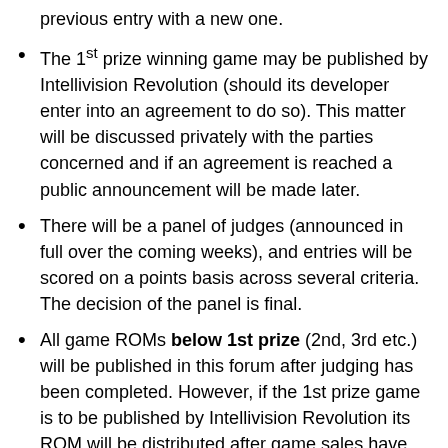previous entry with a new one.
The 1st prize winning game may be published by Intellivision Revolution (should its developer enter into an agreement to do so). This matter will be discussed privately with the parties concerned and if an agreement is reached a public announcement will be made later.
There will be a panel of judges (announced in full over the coming weeks), and entries will be scored on a points basis across several criteria. The decision of the panel is final.
All game ROMs below 1st prize (2nd, 3rd etc.) will be published in this forum after judging has been completed. However, if the 1st prize game is to be published by Intellivision Revolution its ROM will be distributed after game sales have completed.
All entries must be submitted via email to